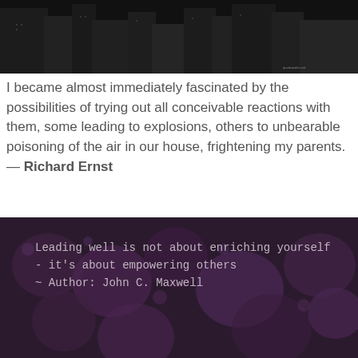[Figure (photo): Dark photograph of a city building/urban scene, heavily darkened with low contrast]
I became almost immediately fascinated by the possibilities of trying out all conceivable reactions with them, some leading to explosions, others to unbearable poisoning of the air in our house, frightening my parents. — Richard Ernst
[Figure (photo): Dark purple/mauve blurred floral background with white quote text overlay reading: Leading well is not about enriching yourself - it's about empowering others ~ Author: John C. Maxwell]